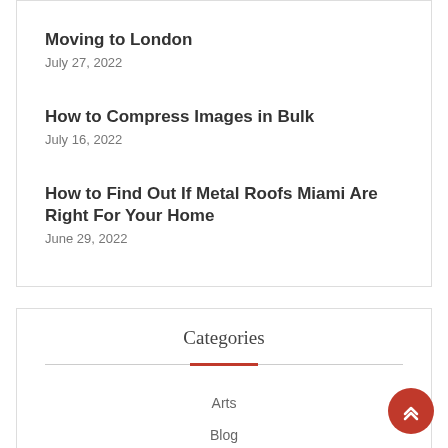Moving to London
July 27, 2022
How to Compress Images in Bulk
July 16, 2022
How to Find Out If Metal Roofs Miami Are Right For Your Home
June 29, 2022
Categories
Arts
Blog